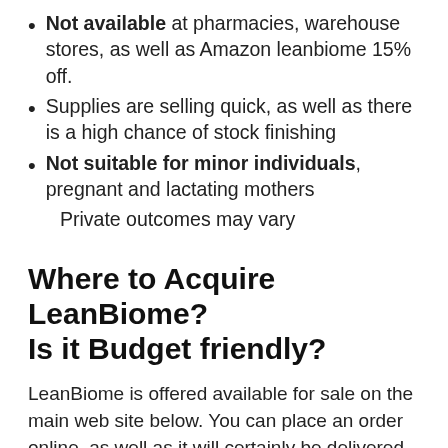Not available at pharmacies, warehouse stores, as well as Amazon leanbiome 15% off.
Supplies are selling quick, as well as there is a high chance of stock finishing
Not suitable for minor individuals, pregnant and lactating mothers
Private outcomes may vary
Where to Acquire LeanBiome? Is it Budget friendly?
LeanBiome is offered available for sale on the main web site below. You can place an order online, as well as it will certainly be delivered to your front door within 3 to 5 days. Purchasing from the main internet site saves you from online